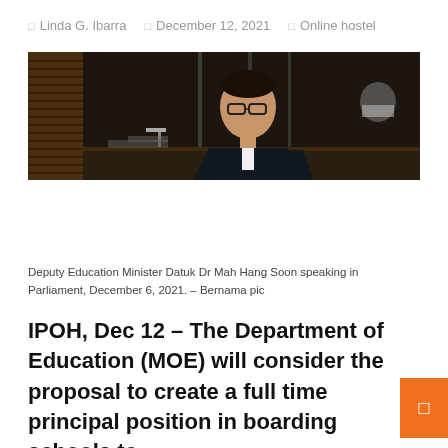Linda G. Ibarra  |  December 12, 2021  |  Online hostel
[Figure (photo): Deputy Education Minister Datuk Dr Mah Hang Soon speaking in Parliament, December 6, 2021. A man in a dark suit and glasses sits at a desk in what appears to be a parliamentary chamber.]
Deputy Education Minister Datuk Dr Mah Hang Soon speaking in Parliament, December 6, 2021. – Bernama pic
IPOH, Dec 12 – The Department of Education (MOE) will consider the proposal to create a full time principal position in boarding schools to